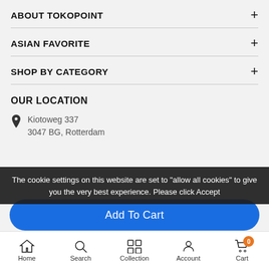ABOUT TOKOPOINT
ASIAN FAVORITE
SHOP BY CATEGORY
OUR LOCATION
Kiotoweg 337
3047 BG, Rotterdam
The cookie settings on this website are set to "allow all cookies" to give you the very best experience. Please click Accept
Add To Cart
Home  Search  Collection  Account  Cart